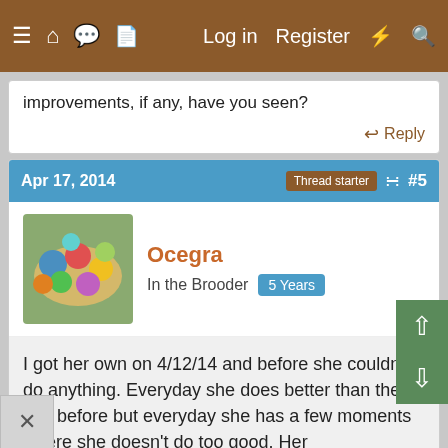≡  🏠  💬  📄    Log in   Register   ⚡   🔍
improvements, if any, have you seen?
↩ Reply
Apr 17, 2014   Thread starter  #5
Ocegra
In the Brooder   5 Years
I got her own on 4/12/14 and before she couldn't do anything. Everyday she does better than the day before but everyday she has a few moments where she doesn't do too good. Her improvements are chirping, responding to your voice, and can walk a little. Most the time she just lays down with her head slumped almost to the ground. But she has gotten a lot better over time.
↩ Reply